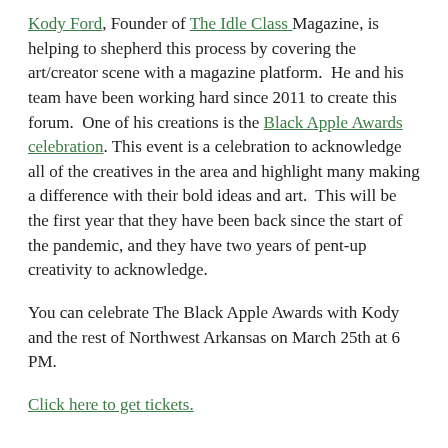Kody Ford, Founder of The Idle Class Magazine, is helping to shepherd this process by covering the art/creator scene with a magazine platform.  He and his team have been working hard since 2011 to create this forum.  One of his creations is the Black Apple Awards celebration. This event is a celebration to acknowledge all of the creatives in the area and highlight many making a difference with their bold ideas and art.  This will be the first year that they have been back since the start of the pandemic, and they have two years of pent-up creativity to acknowledge.
You can celebrate The Black Apple Awards with Kody and the rest of Northwest Arkansas on March 25th at 6 PM.
Click here to get tickets.